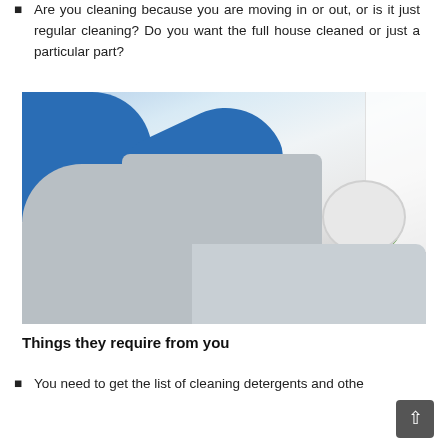Are you cleaning because you are moving in or out, or is it just regular cleaning? Do you want the full house cleaned or just a particular part?
[Figure (photo): A person in a blue uniform wearing yellow rubber gloves using a vacuum cleaner attachment to clean a light grey upholstered sofa/couch. A small round white side table with a green potted plant is visible in the background, along with white curtains.]
Things they require from you
You need to get the list of cleaning detergents and other